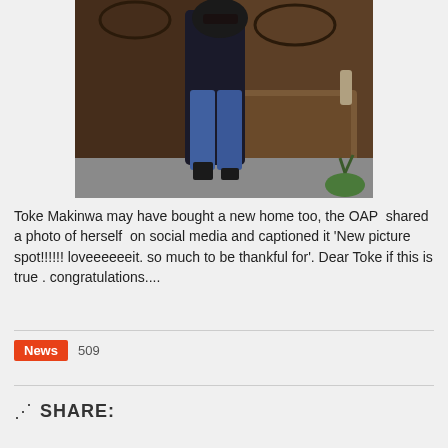[Figure (photo): A woman wearing sunglasses, a black top with leopard print scarf, and blue jeans, posing by an ornate dark wooden door with ironwork, holding the door handle, with a potted plant visible in the corner.]
Toke Makinwa may have bought a new home too, the OAP  shared a photo of herself  on social media and captioned it 'New picture spot!!!!!! loveeeeeeit. so much to be thankful for'. Dear Toke if this is true . congratulations....
News  509
SHARE: